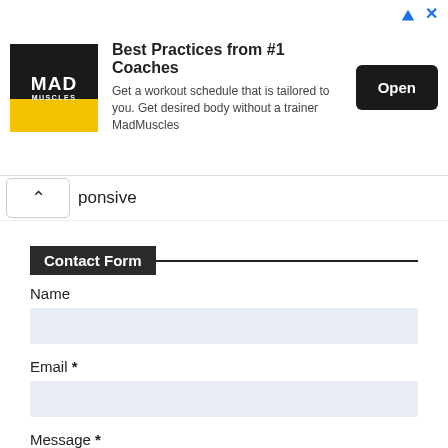[Figure (screenshot): Ad banner for MadMuscles app. Shows MAD MUSCLES logo, headline 'Best Practices from #1 Coaches', description text, and Open button.]
ponsive
Contact Form
Name
Email *
Message *